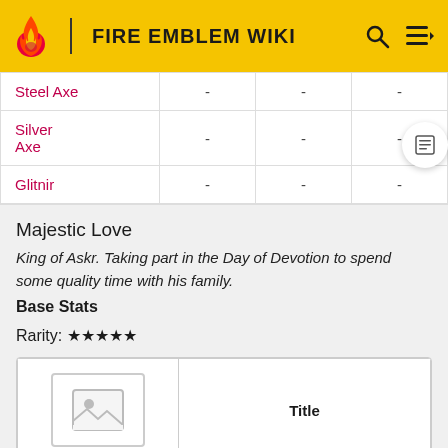FIRE EMBLEM WIKI
| Item |  |  |  |
| --- | --- | --- | --- |
| Steel Axe | - | - | - |
| Silver Axe | - | - | - |
| Glitnir | - | - | - |
Majestic Love
King of Askr. Taking part in the Day of Devotion to spend some quality time with his family.
Base Stats
Rarity: ★★★★★
|  | Title |
| --- | --- |
| [image] | Majestic Love |